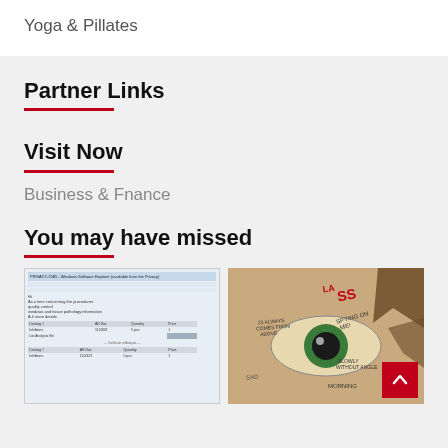Yoga & Pillates
Partner Links
Visit Now
Business & Fnance
You may have missed
[Figure (screenshot): Screenshot of a web page showing a table with columns for Catalog, AR Doc, Quantity, Price]
[Figure (photo): Collage art image of an eye with handwritten text including words like 'SPYING ON ME', 'ALWAYS COMES FROM ABOVE', 'SLOWLY WITHOUT ANGLE', 'SAD', 'MORNING']